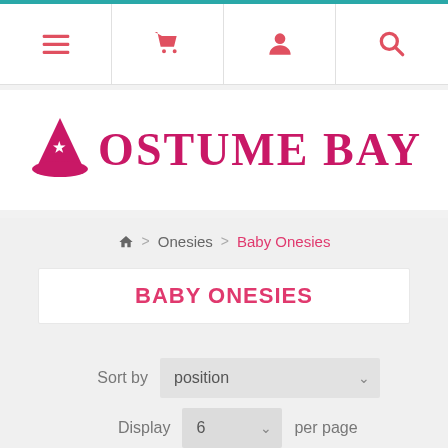[Figure (screenshot): Website navigation bar with hamburger menu, shopping cart, user account, and search icons in red/coral color]
[Figure (logo): Costume Bay logo with wizard hat icon and decorative serif text in magenta/pink color]
Home > Onesies > Baby Onesies
BABY ONESIES
Sort by position
Display 6 per page